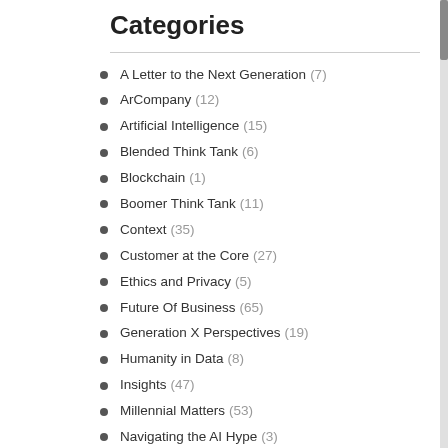Categories
A Letter to the Next Generation (7)
ArCompany (12)
Artificial Intelligence (15)
Blended Think Tank (6)
Blockchain (1)
Boomer Think Tank (11)
Context (35)
Customer at the Core (27)
Ethics and Privacy (5)
Future Of Business (65)
Generation X Perspectives (19)
Humanity in Data (8)
Insights (47)
Millennial Matters (53)
Navigating the AI Hype (3)
Performance and Measurement (29)
Relationship to Technology (11)
Social Justice (52)
Work Culture (10)